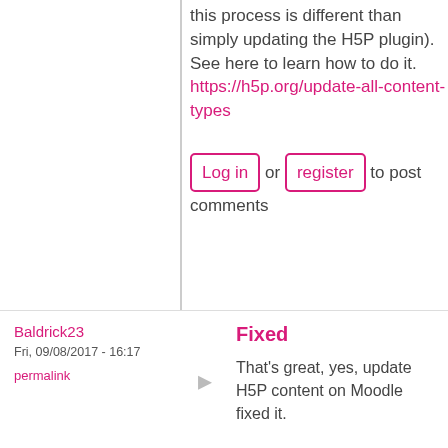this process is different than simply updating the H5P plugin). See here to learn how to do it. https://h5p.org/update-all-content-types
Log in or register to post comments
Baldrick23
Fri, 09/08/2017 - 16:17
permalink
Fixed
That's great, yes, update H5P content on Moodle fixed it.